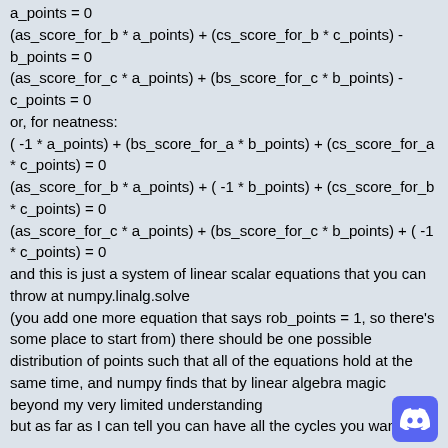a_points = 0
(as_score_for_b * a_points) + (cs_score_for_b * c_points) - b_points = 0
(as_score_for_c * a_points) + (bs_score_for_c * b_points) - c_points = 0
or, for neatness:
( -1 * a_points) + (bs_score_for_a * b_points) + (cs_score_for_a * c_points) = 0
(as_score_for_b * a_points) + ( -1 * b_points) + (cs_score_for_b * c_points) = 0
(as_score_for_c * a_points) + (bs_score_for_c * b_points) + ( -1 * c_points) = 0
and this is just a system of linear scalar equations that you can throw at numpy.linalg.solve
(you add one more equation that says rob_points = 1, so there's some place to start from) there should be one possible distribution of points such that all of the equations hold at the same time, and numpy finds that by linear algebra magic beyond my very limited understanding
but as far as I can tell you can have all the cycles you want